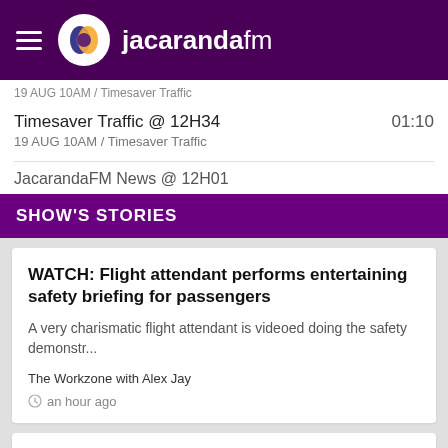jacarandafm
Timesaver Traffic @ 12H34
19 AUG 10AM / Timesaver Traffic
01:10
JacarandaFM News @ 12H01
SHOW'S STORIES
WATCH: Flight attendant performs entertaining safety briefing for passengers
A very charismatic flight attendant is videoed doing the safety demonstr...
The Workzone with Alex Jay
an hour ago
Remember this wedding fiasco? It has resurfaced